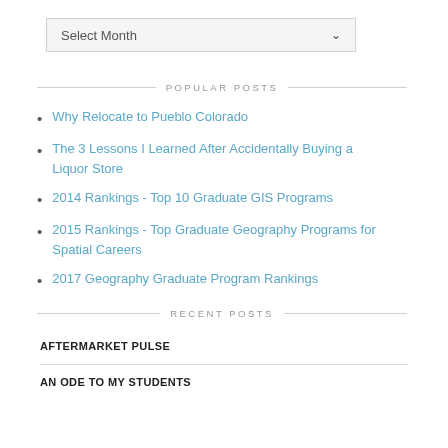[Figure (screenshot): Select Month dropdown box with chevron arrow]
POPULAR POSTS
Why Relocate to Pueblo Colorado
The 3 Lessons I Learned After Accidentally Buying a Liquor Store
2014 Rankings - Top 10 Graduate GIS Programs
2015 Rankings - Top Graduate Geography Programs for Spatial Careers
2017 Geography Graduate Program Rankings
RECENT POSTS
AFTERMARKET PULSE
AN ODE TO MY STUDENTS